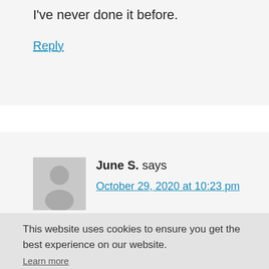I've never done it before.
Reply
June S. says
October 29, 2020 at 10:23 pm
This website uses cookies to ensure you get the best experience on our website.
Learn more
Got it!
Carolyn says